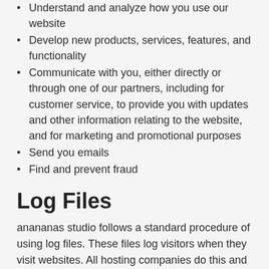Understand and analyze how you use our website
Develop new products, services, features, and functionality
Communicate with you, either directly or through one of our partners, including for customer service, to provide you with updates and other information relating to the website, and for marketing and promotional purposes
Send you emails
Find and prevent fraud
Log Files
anananas studio follows a standard procedure of using log files. These files log visitors when they visit websites. All hosting companies do this and a part of hosting services' analytics. The information collected by log files include internet protocol (IP) addresses, browser type, Internet Service Provider